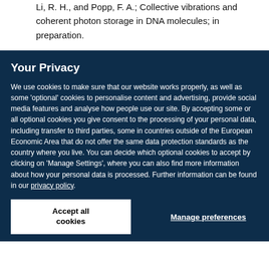Li, R. H., and Popp, F. A.; Collective vibrations and coherent photon storage in DNA molecules; in preparation.
Your Privacy
We use cookies to make sure that our website works properly, as well as some 'optional' cookies to personalise content and advertising, provide social media features and analyse how people use our site. By accepting some or all optional cookies you give consent to the processing of your personal data, including transfer to third parties, some in countries outside of the European Economic Area that do not offer the same data protection standards as the country where you live. You can decide which optional cookies to accept by clicking on 'Manage Settings', where you can also find more information about how your personal data is processed. Further information can be found in our privacy policy.
Accept all cookies
Manage preferences